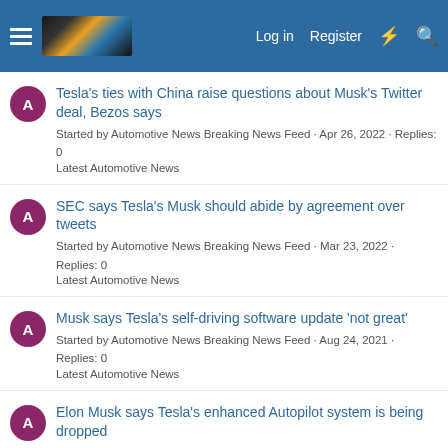Log in  Register
Tesla's ties with China raise questions about Musk's Twitter deal, Bezos says
Started by Automotive News Breaking News Feed · Apr 26, 2022 · Replies: 0
Latest Automotive News
SEC says Tesla's Musk should abide by agreement over tweets
Started by Automotive News Breaking News Feed · Mar 23, 2022 · Replies: 0
Latest Automotive News
Musk says Tesla's self-driving software update 'not great'
Started by Automotive News Breaking News Feed · Aug 24, 2021 · Replies: 0
Latest Automotive News
Elon Musk says Tesla's enhanced Autopilot system is being dropped
Started by Automotive News Breaking News Feed · Oct 20, 2018 · Replies: 0
Latest Automotive News